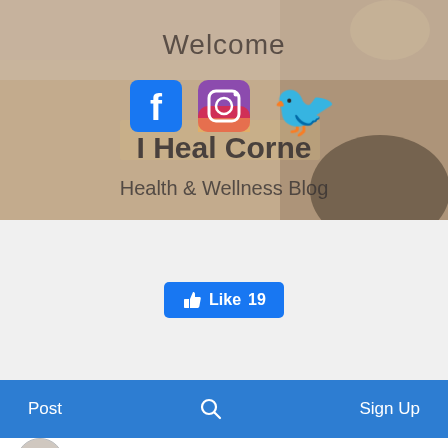[Figure (screenshot): Hero banner image showing a massage/spa scene with 'Welcome' text overlay, social media icons (Facebook, Instagram, Twitter), brand name 'I Heal Corner' and tagline 'Health & Wellness Blog']
[Figure (screenshot): Facebook Like button showing 'Like 19']
[Figure (screenshot): Navigation bar with 'Post', search icon, and 'Sign Up' items]
IHealCorner ♛
Nov 6, 2020 • 3 min